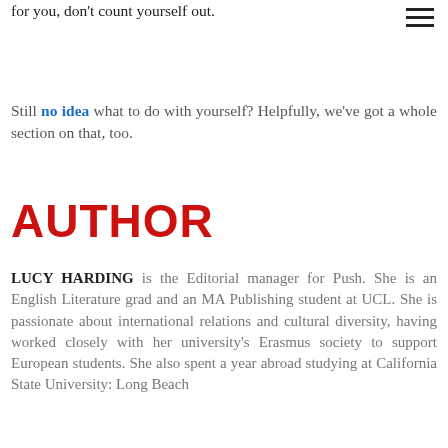The world is your oyster just because this not for you, don't count yourself out.
hamburger menu icon
Still no idea what to do with yourself? Helpfully, we've got a whole section on that, too.
AUTHOR
LUCY HARDING is the Editorial manager for Push. She is an English Literature grad and an MA Publishing student at UCL. She is passionate about international relations and cultural diversity, having worked closely with her university's Erasmus society to support European students. She also spent a year abroad studying at California State University: Long Beach